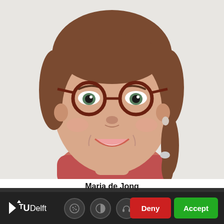[Figure (photo): Headshot photo of a young woman with brown hair in a braid, wearing round dark-rimmed glasses and a red top, smiling, against a light grey background. She is identified as Maria de Jong.]
Maria de Jong
This website uses cookies. By clicking "accept" you give your permission to this website to use cookies. What are cookies?
[Figure (logo): TU Delft logo in white on dark background, with arrow icon and text 'TUDelft']